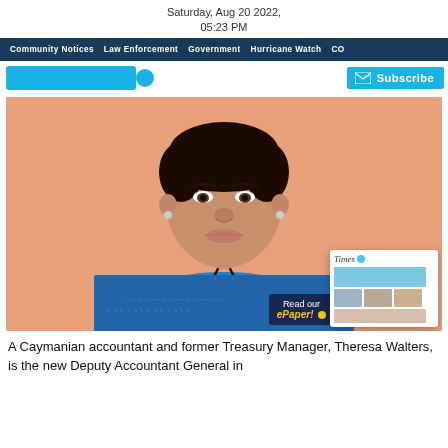Saturday, Aug 20 2022,
05:23 PM
Community Notices  Law Enforcement  Government  Hurricane Watch  CO...
[Figure (photo): Portrait photo of Theresa Walters, a Caymanian woman in a blue patterned top with a lanyard, standing in front of a peach/orange wall, smiling. An ePaper promotional overlay appears in the bottom right corner of the photo.]
A Caymanian accountant and former Treasury Manager, Theresa Walters, is the new Deputy Accountant General in